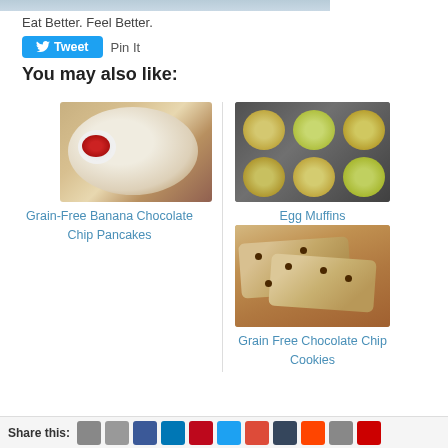[Figure (photo): Partial view of a food photo at top of page]
Eat Better. Feel Better.
[Figure (other): Tweet button and Pin It link]
You may also like:
[Figure (photo): Grain-Free Banana Chocolate Chip Pancakes - plate with pancakes and strawberries]
Grain-Free Banana Chocolate Chip Pancakes
[Figure (photo): Egg Muffins - muffin tin with egg muffins]
Egg Muffins
[Figure (photo): Grain Free Chocolate Chip Cookies - cookies with chocolate chips]
Grain Free Chocolate Chip Cookies
Share this: